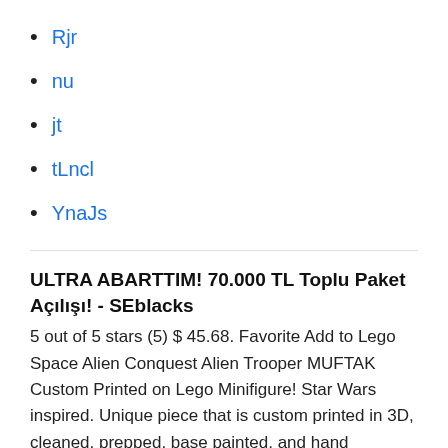Rjr
nu
jt
tLncl
YnaJs
ULTRA ABARTTIM! 70.000 TL Toplu Paket Açılışı! - SEblacks
5 out of 5 stars (5) $ 45.68. Favorite Add to Lego Space Alien Conquest Alien Trooper MUFTAK Custom Printed on Lego Minifigure! Star Wars inspired. Unique piece that is custom printed in 3D, cleaned, prepped, base painted, and hand